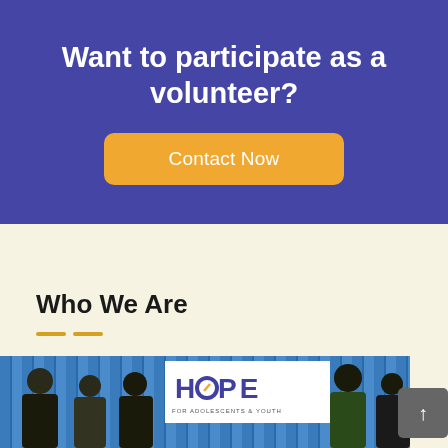Want to participate as a volunteer?
Contact Now
Who We Are
[Figure (photo): Group photo of people standing in front of a blue curtain backdrop with a HOPE (for Adolescents & Youth) banner/logo visible in the center]